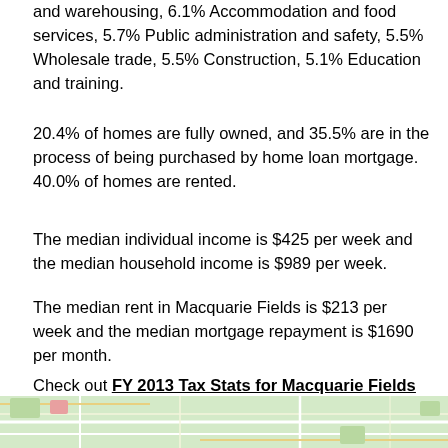and warehousing, 6.1% Accommodation and food services, 5.7% Public administration and safety, 5.5% Wholesale trade, 5.5% Construction, 5.1% Education and training.
20.4% of homes are fully owned, and 35.5% are in the process of being purchased by home loan mortgage. 40.0% of homes are rented.
The median individual income is $425 per week and the median household income is $989 per week.
The median rent in Macquarie Fields is $213 per week and the median mortgage repayment is $1690 per month.
Check out FY 2013 Tax Stats for Macquarie Fields postcode 2564
[Figure (map): Map strip showing Macquarie Fields area street map]